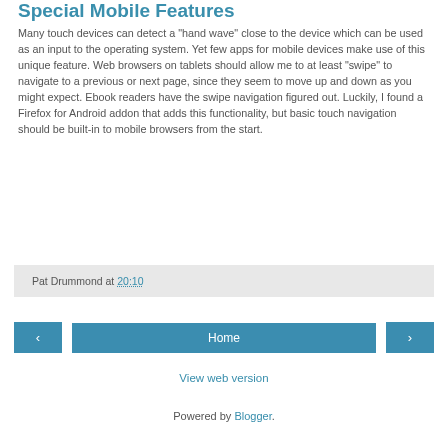Special Mobile Features
Many touch devices can detect a "hand wave" close to the device which can be used as an input to the operating system. Yet few apps for mobile devices make use of this unique feature. Web browsers on tablets should allow me to at least "swipe" to navigate to a previous or next page, since they seem to move up and down as you might expect. Ebook readers have the swipe navigation figured out. Luckily, I found a Firefox for Android addon that adds this functionality, but basic touch navigation should be built-in to mobile browsers from the start.
Pat Drummond at 20:10
‹  Home  ›
View web version
Powered by Blogger.